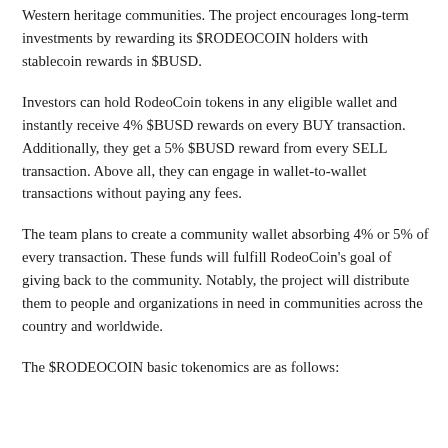Western heritage communities. The project encourages long-term investments by rewarding its $RODEOCOIN holders with stablecoin rewards in $BUSD.
Investors can hold RodeoCoin tokens in any eligible wallet and instantly receive 4% $BUSD rewards on every BUY transaction. Additionally, they get a 5% $BUSD reward from every SELL transaction. Above all, they can engage in wallet-to-wallet transactions without paying any fees.
The team plans to create a community wallet absorbing 4% or 5% of every transaction. These funds will fulfill RodeoCoin's goal of giving back to the community. Notably, the project will distribute them to people and organizations in need in communities across the country and worldwide.
The $RODEOCOIN basic tokenomics are as follows: